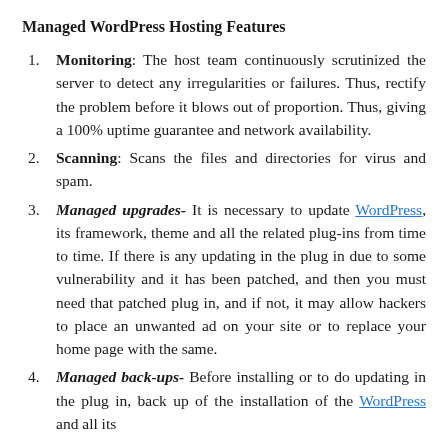Managed WordPress Hosting Features
Monitoring: The host team continuously scrutinized the server to detect any irregularities or failures. Thus, rectify the problem before it blows out of proportion. Thus, giving a 100% uptime guarantee and network availability.
Scanning: Scans the files and directories for virus and spam.
Managed upgrades- It is necessary to update WordPress, its framework, theme and all the related plug-ins from time to time. If there is any updating in the plug in due to some vulnerability and it has been patched, and then you must need that patched plug in, and if not, it may allow hackers to place an unwanted ad on your site or to replace your home page with the same.
Managed back-ups- Before installing or to do updating in the plug in, back up of the installation of the WordPress and all its